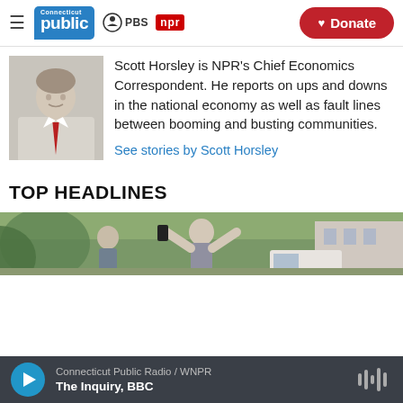Connecticut Public | PBS | NPR | Donate
[Figure (photo): Headshot photo of Scott Horsley, a man in a white shirt and red tie]
Scott Horsley is NPR's Chief Economics Correspondent. He reports on ups and downs in the national economy as well as fault lines between booming and busting communities.
See stories by Scott Horsley
TOP HEADLINES
[Figure (photo): Photo of a person with arms raised, outdoor scene]
Connecticut Public Radio / WNPR | The Inquiry, BBC